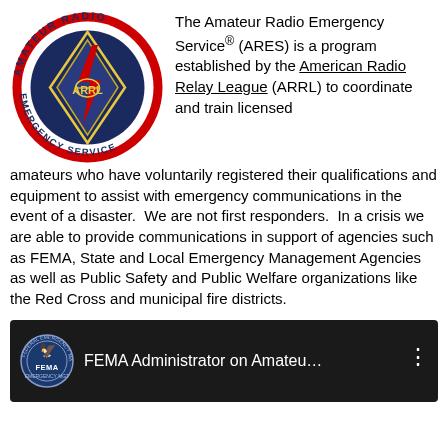[Figure (logo): Amateur Radio Emergency Service (ARES) circular logo with red border, blue diamond/rhombus shape, lightning bolt, and text around the ring reading AMATEUR RADIO EMERGENCY SERVICE]
The Amateur Radio Emergency Service® (ARES) is a program established by the American Radio Relay League (ARRL) to coordinate and train licensed amateurs who have voluntarily registered their qualifications and equipment to assist with emergency communications in the event of a disaster. We are not first responders. In a crisis we are able to provide communications in support of agencies such as FEMA, State and Local Emergency Management Agencies as well as Public Safety and Public Welfare organizations like the Red Cross and municipal fire districts.
[Figure (screenshot): YouTube video thumbnail showing FEMA logo/seal and text 'FEMA Administrator on Amateu...' with three-dot menu icon on dark background]